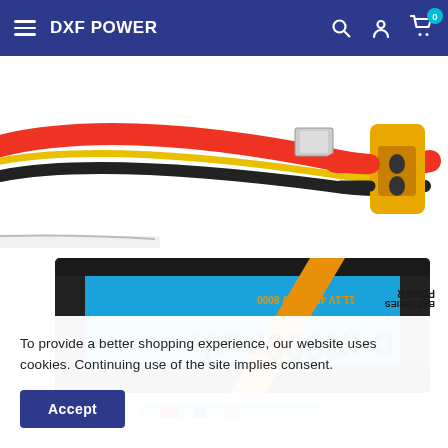DXF POWER
[Figure (photo): Top portion of a DXF Power LiPo battery showing colored wires (red, black, yellow) and an XT60 connector against white background]
[Figure (photo): DXF Power 8000mah LiPo battery pack in blue and black with orange diagonal stripe, shown upside down with certfication symbols visible]
To provide a better shopping experience, our website uses cookies. Continuing use of the site implies consent.
Accept